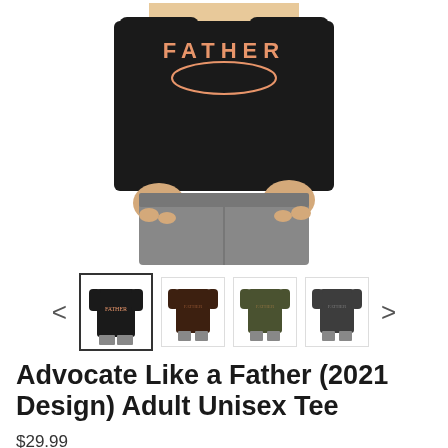[Figure (photo): Main product photo of a man wearing a black t-shirt with 'FATHER' text in orange/salmon lettering on the chest, wearing grey jeans, shown from neck to thighs on white background]
[Figure (photo): Thumbnail gallery row with navigation arrows showing 4 thumbnail variants of the t-shirt in different colors (black, dark brown, olive/army green, dark grey), with the first thumbnail (black) selected/highlighted with a border]
Advocate Like a Father (2021 Design) Adult Unisex Tee
$29.99